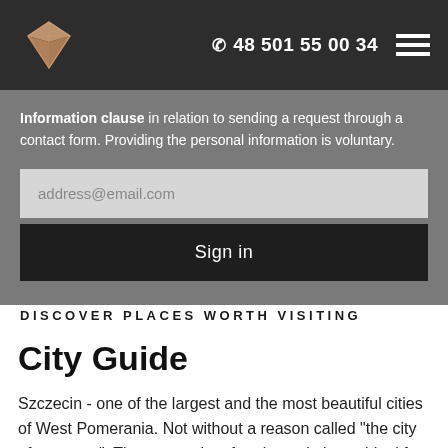☎ 48 501 55 00 34
Information clause in relation to sending a request through a contact form. Providing the personal information is voluntary.
address@email.com
Sign in
DISCOVER PLACES WORTH VISITING
City Guide
Szczecin - one of the largest and the most beautiful cities of West Pomerania. Not without a reason called "the city of greenery". There are a lot of parks and places ideal for long walks. One of the most popular is the Kasprowicz Park - a